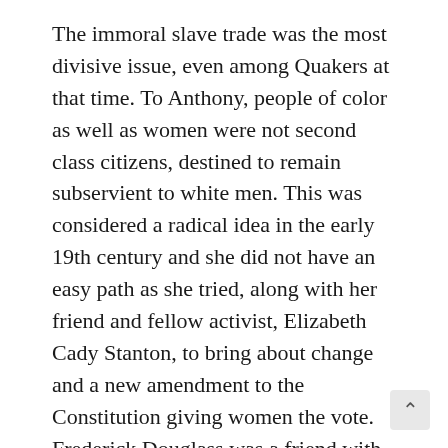The immoral slave trade was the most divisive issue, even among Quakers at that time. To Anthony, people of color as well as women were not second class citizens, destined to remain subservient to white men. This was considered a radical idea in the early 19th century and she did not have an easy path as she tried, along with her friend and fellow activist, Elizabeth Cady Stanton, to bring about change and a new amendment to the Constitution giving women the vote. Frederick Douglass was a friend with whom she worked to help first abolish slavery and then gain constitutional protection for free slaves. However, before slavery was abolished and even after, prominent politicians and leaders cautioned her to put her agenda for women's rights on hold. This was unacceptable. Anthony, along with her friend and staunchest ally, Stanton, challenged the notion that women had